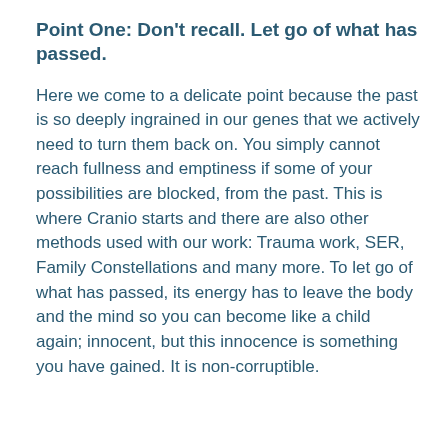Point One: Don't recall. Let go of what has passed.
Here we come to a delicate point because the past is so deeply ingrained in our genes that we actively need to turn them back on. You simply cannot reach fullness and emptiness if some of your possibilities are blocked, from the past. This is where Cranio starts and there are also other methods used with our work: Trauma work, SER, Family Constellations and many more. To let go of what has passed, its energy has to leave the body and the mind so you can become like a child again; innocent, but this innocence is something you have gained. It is non-corruptible.